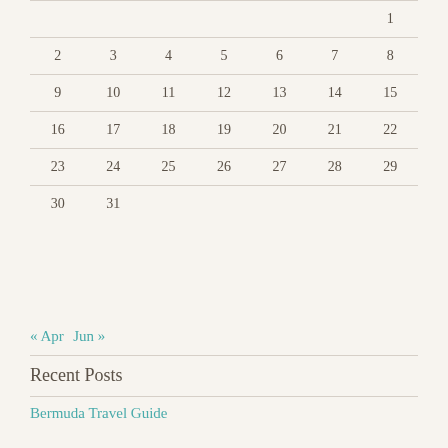|  |  |  |  |  |  | 1 |
| 2 | 3 | 4 | 5 | 6 | 7 | 8 |
| 9 | 10 | 11 | 12 | 13 | 14 | 15 |
| 16 | 17 | 18 | 19 | 20 | 21 | 22 |
| 23 | 24 | 25 | 26 | 27 | 28 | 29 |
| 30 | 31 |  |  |  |  |  |
« Apr   Jun »
Recent Posts
Bermuda Travel Guide